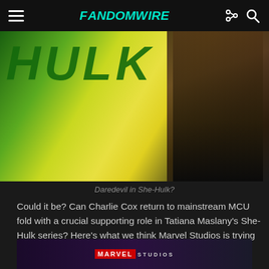FandomWire
[Figure (photo): Daredevil character image overlaid on She-Hulk promotional background with green/yellow colors and HULK text visible]
Daredevil in She-Hulk?
Could it be? Can Charlie Cox return to mainstream MCU fold with a crucial supporting role in Tatiana Maslany’s She-Hulk series? Here’s what we think Marvel Studios is trying real hard to hide from you.
The She-Hulk: Attorney At Law Title Is A Big Daredevil Hint
[Figure (photo): Marvel Studios logo/branding at bottom of page]